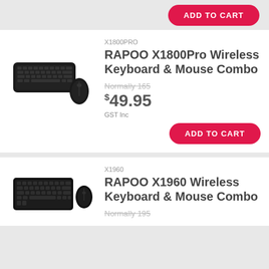[Figure (other): ADD TO CART button at the top of the page]
[Figure (photo): RAPOO X1800Pro wireless keyboard and mouse combo product image]
X1800PRO
RAPOO X1800Pro Wireless Keyboard & Mouse Combo
Normally 165
$49.95
GST Inc
[Figure (other): ADD TO CART button]
[Figure (photo): RAPOO X1960 wireless keyboard and mouse combo product image]
X1960
RAPOO X1960 Wireless Keyboard & Mouse Combo
Normally 195